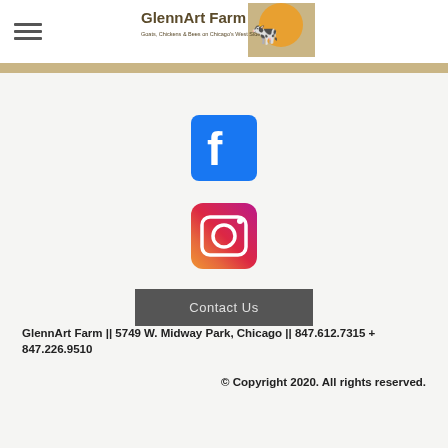[Figure (logo): GlennArt Farm logo with text 'Goats, Chickens & Bees on Chicago's West Side' and illustration of a cow and bird with orange circle]
[Figure (logo): Facebook social media icon - blue square with white f]
[Figure (logo): Instagram social media icon - gradient orange/pink/purple circle with camera outline]
Contact Us
GlennArt Farm || 5749 W. Midway Park, Chicago || 847.612.7315 + 847.226.9510
© Copyright 2020. All rights reserved.